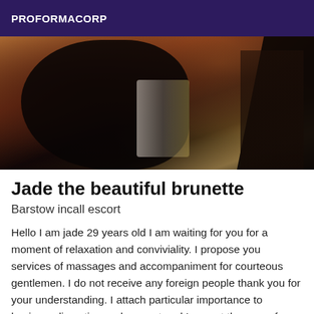PROFORMACORP
[Figure (photo): Dark photograph showing a person in dim lighting with warm brown and amber tones]
Jade the beautiful brunette
Barstow incall escort
Hello I am jade 29 years old I am waiting for you for a moment of relaxation and conviviality. I propose you services of massages and accompaniment for courteous gentlemen. I do not receive any foreign people thank you for your understanding. I attach particular importance to hygiene, discretion and respect and I expect the same from the people I meet. I reserve the